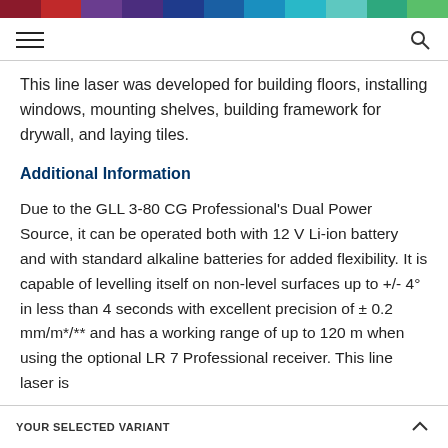[Figure (other): Horizontal color bar strip with multiple color segments: dark red, red, purple, dark purple, blue segments on left; teal, cyan, light teal, green segments on right]
[Figure (other): Navigation bar with hamburger menu icon on left and search magnifying glass icon on right]
This line laser was developed for building floors, installing windows, mounting shelves, building framework for drywall, and laying tiles.
Additional Information
Due to the GLL 3-80 CG Professional's Dual Power Source, it can be operated both with 12 V Li-ion battery and with standard alkaline batteries for added flexibility. It is capable of levelling itself on non-level surfaces up to +/- 4° in less than 4 seconds with excellent precision of ± 0.2 mm/m*/** and has a working range of up to 120 m when using the optional LR 7 Professional receiver. This line laser is
YOUR SELECTED VARIANT